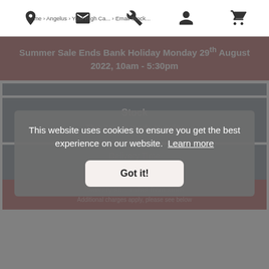Navigation bar with icons: location, email, wrench, user, cart. Breadcrumb: Home > Angelus > Your High Ca... > Email Stock...
Summer Sale Ends Bank Holiday Monday 29th August 2022, 10am - 5:30pm
Stock
This item is made to order
Delivery Time
Delivery so... miles from store
Additional charges apply, please see below
This website uses cookies to ensure you get the best experience on our website. Learn more
Got it!